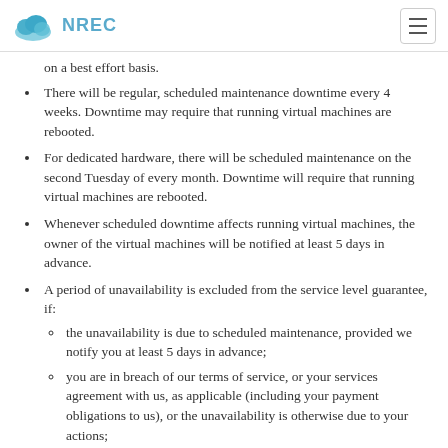NREC
on a best effort basis.
There will be regular, scheduled maintenance downtime every 4 weeks. Downtime may require that running virtual machines are rebooted.
For dedicated hardware, there will be scheduled maintenance on the second Tuesday of every month. Downtime will require that running virtual machines are rebooted.
Whenever scheduled downtime affects running virtual machines, the owner of the virtual machines will be notified at least 5 days in advance.
A period of unavailability is excluded from the service level guarantee, if:
the unavailability is due to scheduled maintenance, provided we notify you at least 5 days in advance;
you are in breach of our terms of service, or your services agreement with us, as applicable (including your payment obligations to us), or the unavailability is otherwise due to your actions;
the unavailability is caused by factors outside of our reasonable control, including a force majeure event;